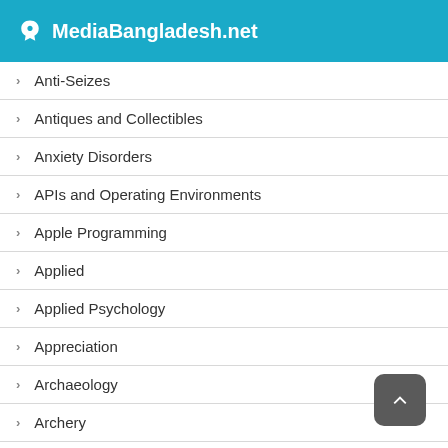MediaBangladesh.net
Anti-Seizes
Antiques and Collectibles
Anxiety Disorders
APIs and Operating Environments
Apple Programming
Applied
Applied Psychology
Appreciation
Archaeology
Archery